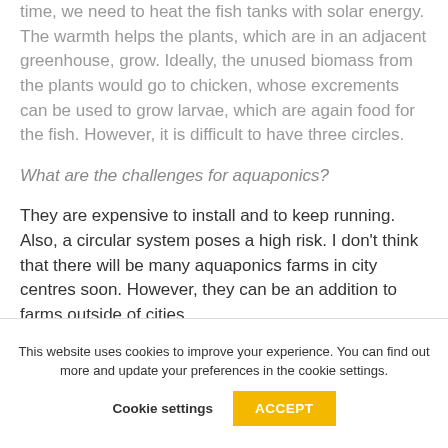time, we need to heat the fish tanks with solar energy. The warmth helps the plants, which are in an adjacent greenhouse, grow. Ideally, the unused biomass from the plants would go to chicken, whose excrements can be used to grow larvae, which are again food for the fish. However, it is difficult to have three circles.
What are the challenges for aquaponics?
They are expensive to install and to keep running. Also, a circular system poses a high risk. I don't think that there will be many aquaponics farms in city centres soon. However, they can be an addition to farms outside of cities.
This website uses cookies to improve your experience. You can find out more and update your preferences in the cookie settings.
Cookie settings
ACCEPT